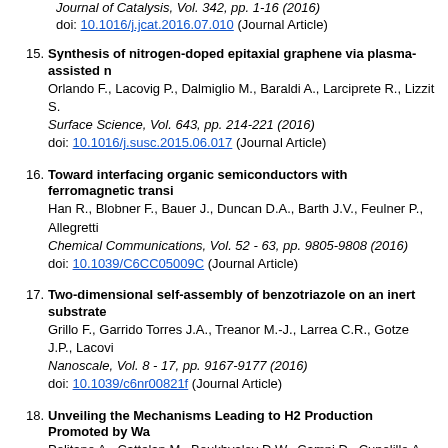Journal of Catalysis, Vol. 342, pp. 1-16 (2016)
doi: 10.1016/j.jcat.2016.07.010 (Journal Article)
15. Synthesis of nitrogen-doped epitaxial graphene via plasma-assisted n
Orlando F., Lacovig P., Dalmiglio M., Baraldi A., Larciprete R., Lizzit S.
Surface Science, Vol. 643, pp. 214-221 (2016)
doi: 10.1016/j.susc.2015.06.017 (Journal Article)
16. Toward interfacing organic semiconductors with ferromagnetic transi
Han R., Blobner F., Bauer J., Duncan D.A., Barth J.V., Feulner P., Allegretti
Chemical Communications, Vol. 52 - 63, pp. 9805-9808 (2016)
doi: 10.1039/C6CC05009C (Journal Article)
17. Two-dimensional self-assembly of benzotriazole on an inert substrate
Grillo F., Garrido Torres J.A., Treanor M.-J., Larrea C.R., Gotze J.P., Lacovi
Nanoscale, Vol. 8 - 17, pp. 9167-9177 (2016)
doi: 10.1039/c6nr00821f (Journal Article)
18. Unveiling the Mechanisms Leading to H2 Production Promoted by Wa
Politano A., Cattelan M., Boukhvalov D.W., Campi D., Cupolillo A., Agnoli S
ACS Nano, Vol. 10 - 4, pp. 4543-4549 (2016)
doi: 10.1021/acsnano.6b00554 (Journal Article)
19. Unveiling the Oxidation Processes of Pt3Ni(111) by Real-Time Surface
Politano A., Chiarello G.
ChemCatChem, Vol. 8 - 4, pp. 713-718 (2016)